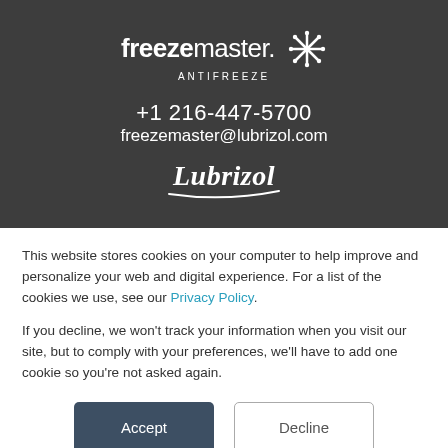[Figure (logo): Freezemaster Antifreeze logo with snowflake icon on dark background]
+1 216-447-5700
freezemaster@lubrizol.com
[Figure (logo): Lubrizol italic logo with underline swoosh]
This website stores cookies on your computer to help improve and personalize your web and digital experience. For a list of the cookies we use, see our Privacy Policy.
If you decline, we won't track your information when you visit our site, but to comply with your preferences, we'll have to add one cookie so you're not asked again.